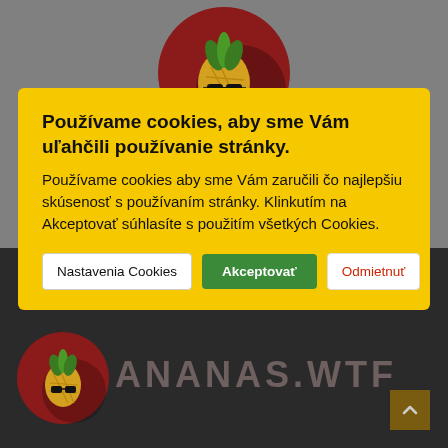[Figure (screenshot): Gray background with dark-themed website. Cookie consent banner overlaid in yellow. Bottom section shows dark background with pineapple logo and ANANAS.WTF text.]
Používame cookies, aby sme Vám uľahčili používanie stránky.
Používame cookies aby sme Vám zaručili čo najlepšiu skúsenosť s používaním stránky. Klinkutím na Akceptovať súhlasíte s použitím všetkých Cookies.
Nastavenia Cookies | Akceptovať | Odmietnuť